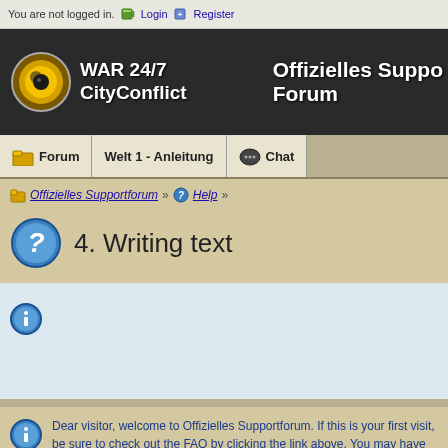You are not logged in.  Login  Register
[Figure (screenshot): WAR 24/7 CityConflict logo banner with text 'Offizielles Supportforum']
Forum  Welt 1 - Anleitung  Chat
Offizielles Supportforum » Help »
4. Writing text
Dear visitor, welcome to Offizielles Supportforum. If this is your first visit, be sure to check out the FAQ by clicking the link above. You may have to register before you can post: click the register here or read more information about the registration process. If